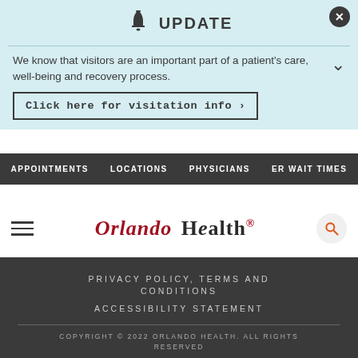UPDATE
We know that visitors are an important part of a patient's care, well-being and recovery process.
Click here for visitation info ›
APPOINTMENTS   LOCATIONS   PHYSICIANS   ER WAIT TIMES
[Figure (logo): Orlando Health logo with hamburger menu and search icon]
PRIVACY POLICY, TERMS AND CONDITIONS
ACCESSIBILITY STATEMENT
COPYRIGHT © 2022 ORLANDO HEALTH. ALL RIGHTS RESERVED